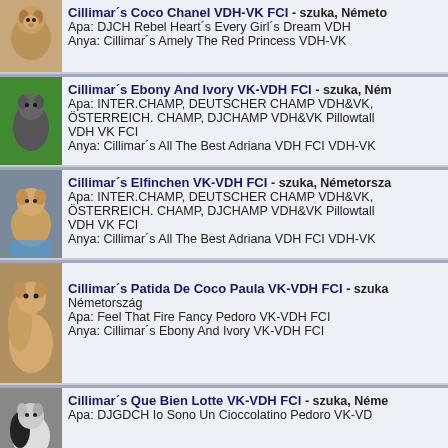Cillimar´s Coco Chanel VDH-VK FCI - szuka, Németo
Apa: DJCH Rebel Heart´s Every Girl´s Dream VDH
Anya: Cillimar´s Amely The Red Princess VDH-VK
Cillimar´s Ebony And Ivory VK-VDH FCI - szuka, Ném
Apa: INTER.CHAMP, DEUTSCHER CHAMP VDH&VK, ÖSTERREICH. CHAMP, DJCHAMP VDH&VK Pillowtall VDH VK FCI
Anya: Cillimar´s All The Best Adriana VDH FCI VDH-VK
Cillimar´s Elfinchen VK-VDH FCI - szuka, Németorsza
Apa: INTER.CHAMP, DEUTSCHER CHAMP VDH&VK, ÖSTERREICH. CHAMP, DJCHAMP VDH&VK Pillowtall VDH VK FCI
Anya: Cillimar´s All The Best Adriana VDH FCI VDH-VK
Cillimar´s Patida De Coco Paula VK-VDH FCI - szuka Németország
Apa: Feel That Fire Fancy Pedoro VK-VDH FCI
Anya: Cillimar´s Ebony And Ivory VK-VDH FCI
Cillimar´s Que Bien Lotte VK-VDH FCI - szuka, Néme
Apa: DJGDCH Io Sono Un Cioccolatino Pedoro VK-VD